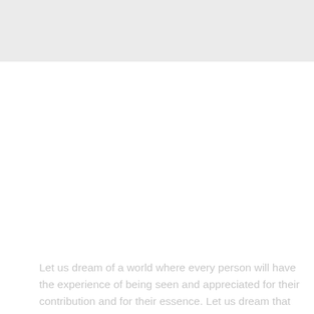Let us dream of a world where every person will have the experience of being seen and appreciated for their contribution and for their essence. Let us dream that there is an inspiring and scalable model for cooperation in the world, a